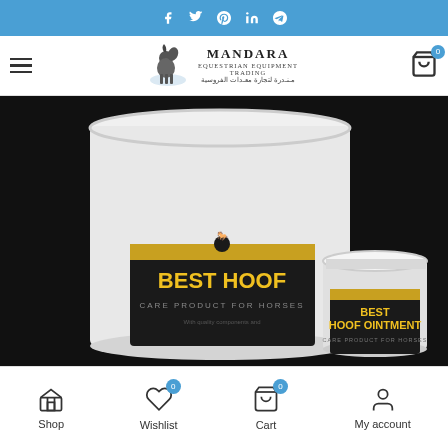Social media icons: Facebook, Twitter, Pinterest, LinkedIn, Telegram
[Figure (logo): Mandara Equestrian Equipment Trading logo with Arabic text and horse illustration]
[Figure (photo): Two white containers of Best Hoof and Best Hoof Ointment care products for horses on a dark background]
Shop | Wishlist (0) | Cart (0) | My account